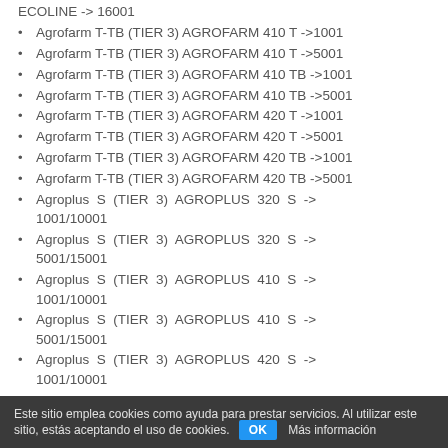ECOLINE -> 16001
Agrofarm T-TB (TIER 3) AGROFARM 410 T ->1001
Agrofarm T-TB (TIER 3) AGROFARM 410 T ->5001
Agrofarm T-TB (TIER 3) AGROFARM 410 TB ->1001
Agrofarm T-TB (TIER 3) AGROFARM 410 TB ->5001
Agrofarm T-TB (TIER 3) AGROFARM 420 T ->1001
Agrofarm T-TB (TIER 3) AGROFARM 420 T ->5001
Agrofarm T-TB (TIER 3) AGROFARM 420 TB ->1001
Agrofarm T-TB (TIER 3) AGROFARM 420 TB ->5001
Agroplus S (TIER 3) AGROPLUS 320 S -> 1001/10001
Agroplus S (TIER 3) AGROPLUS 320 S -> 5001/15001
Agroplus S (TIER 3) AGROPLUS 410 S -> 1001/10001
Agroplus S (TIER 3) AGROPLUS 410 S -> 5001/15001
Agroplus S (TIER 3) AGROPLUS 420 S -> 1001/10001
Este sitio emplea cookies como ayuda para prestar servicios. Al utilizar este sitio, estás aceptando el uso de cookies. OK Más información